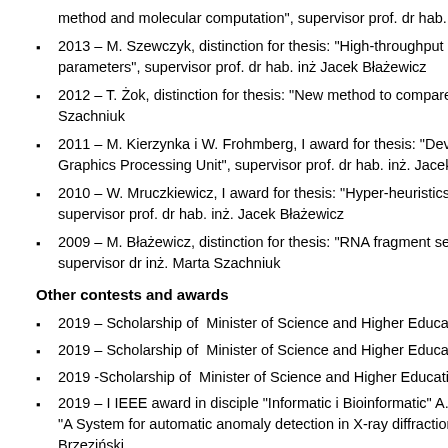method and molecular computation", supervisor prof. dr hab. inż. Piotr B
2013 – M. Szewczyk, distinction for thesis: "High-throughput statistical a parameters", supervisor prof. dr hab. inż Jacek Błażewicz
2012 – T. Żok, distinction for thesis: "New method to compare molecule Szachniuk
2011 – M. Kierzynka i W. Frohmberg, I award for thesis: "Development Graphics Processing Unit", supervisor prof. dr hab. inż. Jacek Błażewic
2010 – W. Mruczkiewicz, I award for thesis: "Hyper-heuristics for Seque supervisor prof. dr hab. inż. Jacek Błażewicz
2009 – M. Błażewicz, distinction for thesis: "RNA fragment search engin supervisor dr inż. Marta Szachniuk
Other contests and awards
2019 – Scholarship of  Minister of Science and Higher Education Zofii D
2019 – Scholarship of  Minister of Science and Higher EducationGrzege
2019 -Scholarship of  Minister of Science and Higher Education Michała
2019 – I IEEE award in disciple "Informatic i Bioinformatic" A. Czyżewsk "A System for automatic anomaly detection in X-ray diffraction images" Brzeziński.